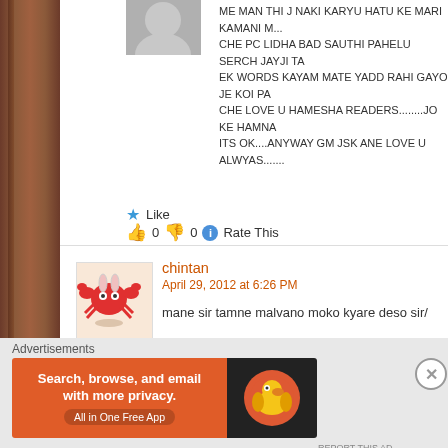ME MAN THI J NAKI KARYU HATU KE MARI KAMANI M... CHE PC LIDHA BAD SAUTHI PAHELU SERCH JAYJI TA... EK WORDS KAYAM MATE YADD RAHI GAYO JE KOI PA... CHE LOVE U HAMESHA READERS........JO KE HAMNA... ITS OK....ANYWAY GM JSK ANE LOVE U ALWYAS.......
★ Like  👍 0 👎 0 ℹ Rate This
chintan
April 29, 2012 at 6:26 PM
mane sir tamne malvano moko kyare deso sir/
★ Like  👍 0 👎 0 ℹ Rate This
prakash dabhi
April 30, 2012 at 12:03 AM
Advertisements
[Figure (infographic): DuckDuckGo advertisement banner: orange background with text 'Search, browse, and email with more privacy. All in One Free App' and DuckDuckGo logo on dark panel]